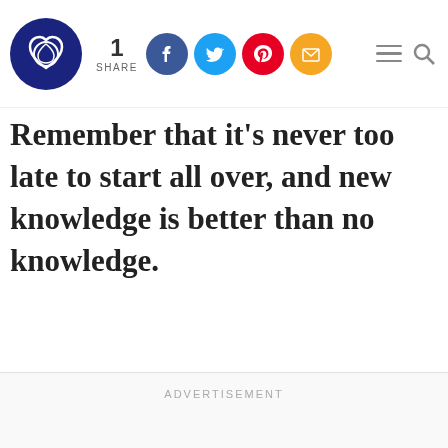1 SHARE [social share buttons: Facebook, Twitter, Pinterest, Email] [hamburger menu] [search]
Remember that it's never too late to start all over, and new knowledge is better than no knowledge.
ADVERTISEMENT